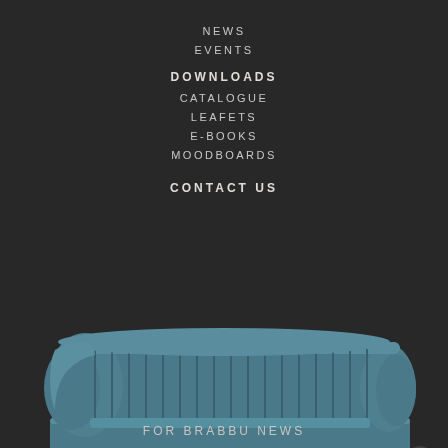NEWS
EVENTS
DOWNLOADS
CATALOGUE
LEAFETS
E-BOOKS
MOODBOARDS
CONTACT US
[Figure (photo): A teal/blue velvet sofa with vertical channel tufting, curved arms, and a brass/gold base rail, photographed on a dark background.]
FOR BRABBU NEWS